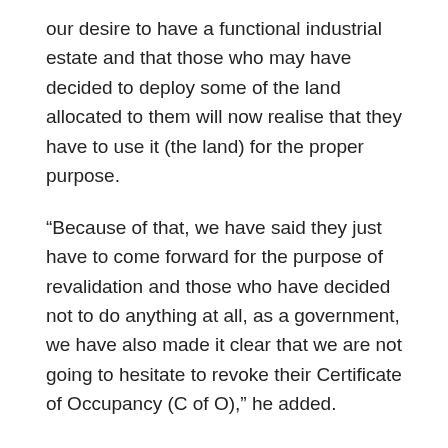our desire to have a functional industrial estate and that those who may have decided to deploy some of the land allocated to them will now realise that they have to use it (the land) for the proper purpose.
“Because of that, we have said they just have to come forward for the purpose of revalidation and those who have decided not to do anything at all, as a government, we have also made it clear that we are not going to hesitate to revoke their Certificate of Occupancy (C of O),” he added.
Mr. Aniagwu said approval was given for the rehabilitation of the Owa-Oyibu Sports Complex and other works because of decay.
To aid access to the new Federal Road Safety Corps Training School in Owa- Alero, Ika North East Local Government Area